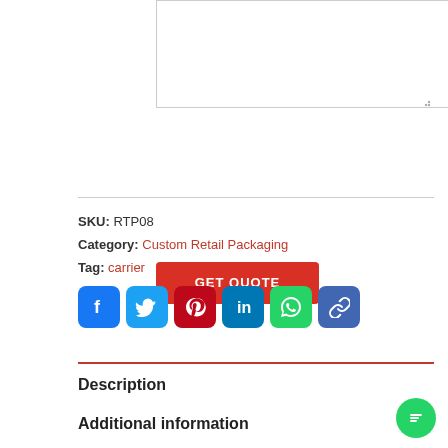[Figure (screenshot): Textarea input box (empty) with resize handle in bottom-right corner]
[Figure (screenshot): Red 'GET QUOTE' button]
SKU: RTP08
Category: Custom Retail Packaging
Tag: carrier
[Figure (infographic): Social sharing icons: Facebook, Twitter, Pinterest, LinkedIn, WhatsApp, Copy Link]
Description
Additional information